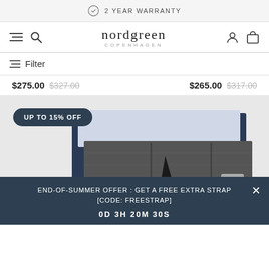2 YEAR WARRANTY
nordgreen COPENHAGEN
Filter
$275.00  $327.00    $265.00  $317.00
[Figure (photo): Watch strap gift set in navy/dark blue box packaging with felt compartments showing multiple watch straps]
UP TO 15% OFF
END-OF-SUMMER OFFER : GET A FREE EXTRA STRAP [CODE: FREESTRAP]
0D 3H 20M 30S